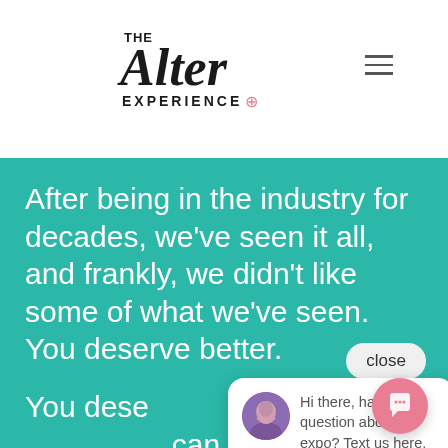[Figure (logo): The Alter Experience logo with stylized italic 'Alter' text and ring icon]
[Figure (other): Hamburger menu icon (three horizontal lines) in top right corner]
After being in the industry for decades, we've seen it all, and frankly, we didn't like some of what we've seen. You deserve better.
[Figure (other): Close button (rounded rectangle with 'close' text)]
[Figure (other): Chat popup with avatar and message: Hi there, have a question about the expo? Text us here.]
You deserve a wedding experience where you can meet, mingle, and actually talk to wedding pros who want to help you make your planning in one day. So we gathered the most talented and reputable wedding pros for a fun, one-day expo where you'll be able to
[Figure (other): Pink circular chat/message floating action button in bottom right]